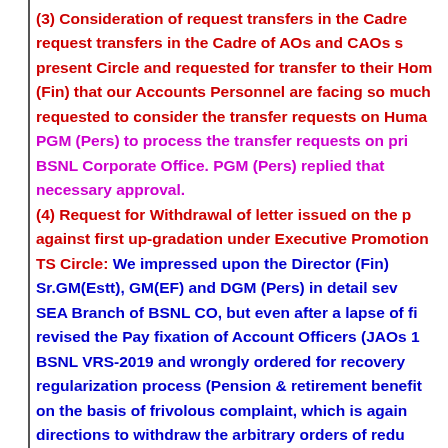(3) Consideration of request transfers in the Cadre of AOs and CAOs s present Circle and requested for transfer to their Hon (Fin) that our Accounts Personnel are facing so much requested to consider the transfer requests on Huma PGM (Pers) to process the transfer requests on pri BSNL Corporate Office. PGM (Pers) replied that necessary approval.
(4) Request for Withdrawal of letter issued on the p against first up-gradation under Executive Promotio TS Circle: We impressed upon the Director (Fin) Sr.GM(Estt), GM(EF) and DGM (Pers) in detail sev SEA Branch of BSNL CO, but even after a lapse of fi revised the Pay fixation of Account Officers (JAOs 1 BSNL VRS-2019 and wrongly ordered for recovery regularization process (Pension & retirement benefit on the basis of frivolous complaint, which is again directions to withdraw the arbitrary orders of redu